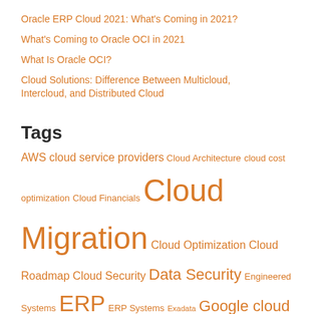Oracle ERP Cloud 2021: What's Coming in 2021?
What's Coming to Oracle OCI in 2021
What Is Oracle OCI?
Cloud Solutions: Difference Between Multicloud, Intercloud, and Distributed Cloud
Tags
AWS cloud service providers Cloud Architecture cloud cost optimization Cloud Financials Cloud Migration Cloud Optimization Cloud Roadmap Cloud Security Data Security Engineered Systems ERP ERP Systems Exadata Google cloud service provider IaaS Multi-Cloud Oracle Architectures Oracle Autonomous Database Cloud Oracle Cloud Oracle Cloud Database